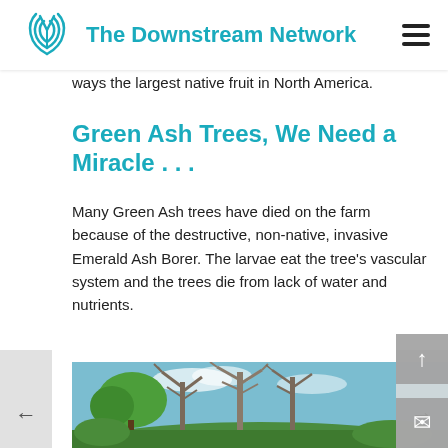The Downstream Network
ways the largest native fruit in North America.
Green Ash Trees, We Need a Miracle . . .
Many Green Ash trees have died on the farm because of the destructive, non-native, invasive Emerald Ash Borer. The larvae eat the tree's vascular system and the trees die from lack of water and nutrients.
[Figure (photo): Photograph of Green Ash trees, some with bare branches and some with green leaves, against a blue sky with a green hillside in the background.]